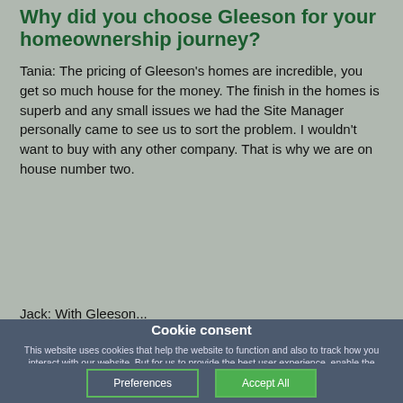Why did you choose Gleeson for your homeownership journey?
Tania: The pricing of Gleeson's homes are incredible, you get so much house for the money. The finish in the homes is superb and any small issues we had the Site Manager personally came to see us to sort the problem. I wouldn't want to buy with any other company. That is why we are on house number two.
Jack: With Gleeson...
Cookie consent
This website uses cookies that help the website to function and also to track how you interact with our website. But for us to provide the best user experience, enable the specific cookies from Settings, and click on Accept. Find out more about our cookie policy.